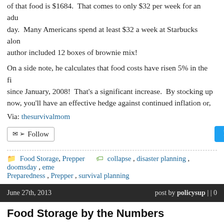of that food is $1684. That comes to only $32 per week for an adult per day. Many Americans spend at least $32 a week at Starbucks alone. The author included 12 boxes of brownie mix!
On a side note, he calculates that food costs have risen 5% in the first since January, 2008! That's a significant increase. By stocking up now, you'll have an effective hedge against continued inflation or,
Via: thesurvivalmom
Follow | Tweet | tumblr.
Food Storage, Prepper | collapse , disaster planning , doomsday , eme... Preparedness , Prepper , survival planning
June 27th, 2013   post by policysup | | 0
Food Storage by the Numbers
Not long ago, the Sun Oven lady pointed out that a year's worth of food... That's 365 breakfasts, lunches and dinners for four people! (I've a argue with numbers!) Put into that perspective, it made me realize... consumes in a year, and that 4,380 number doesn't include snacks,
How does a someone begin storing that much food, and is it even